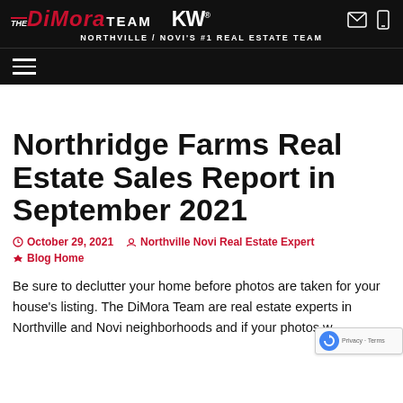THE DIMORA TEAM KW — NORTHVILLE / NOVI'S #1 REAL ESTATE TEAM
Northridge Farms Real Estate Sales Report in September 2021
October 29, 2021  |  Northville Novi Real Estate Expert  |  Blog Home
Be sure to declutter your home before photos are taken for your house's listing. The DiMora Team are real estate experts in Northville and Novi neighborhoods and if your photos w...